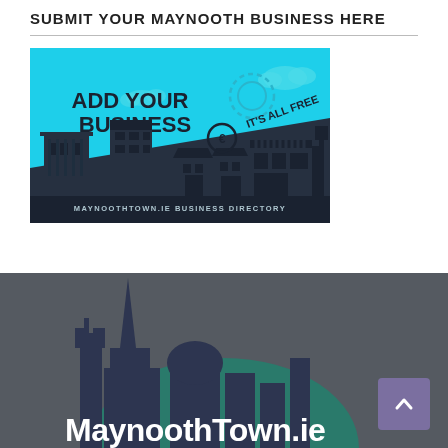SUBMIT YOUR MAYNOOTH BUSINESS HERE
[Figure (illustration): Advertisement banner for MaynoothTown.ie Business Directory. Cyan/light blue background with stylized building silhouettes (shops, stores). Text reads 'ADD YOUR BUSINESS' in bold black, and '€ IT'S ALL FREE' with a euro coin icon. Bottom dark band reads 'MAYNOOTHTOWN.IE BUSINESS DIRECTORY'.]
[Figure (logo): Dark grey footer section with a MaynoothTown.ie logo illustration showing a town skyline silhouette with a church spire and dome in dark blue/navy, a green teal semicircle, and white bold text 'MaynoothTown.ie' partially visible at the bottom. A purple square scroll-to-top button appears in the bottom right corner.]